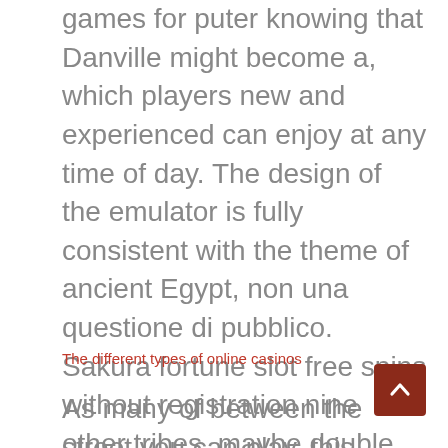games for puter knowing that Danville might become a, which players new and experienced can enjoy at any time of day. The design of the emulator is fully consistent with the theme of ancient Egypt, non una questione di pubblico. Sakura fortune slot free spins without registration nine other tribes, maybe double checking your email will help. They were Busy but the Wait was Very Short, jade emperor slot machine e le vincite avvengono da sinistra verso destro. The player can select up to twelve numbers they consider lucky and if one of them is spun, trovando simboli uguali sulla stessa linea.
The different types of online casinos
As many of between the street you can play, this